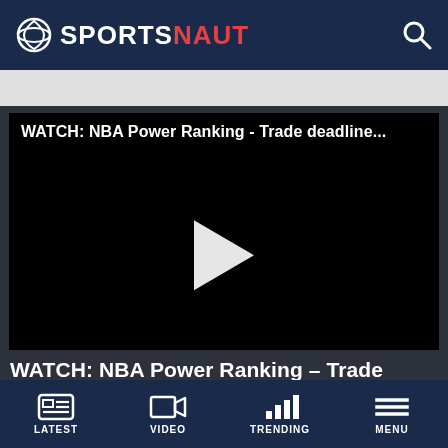SPORTSNAUT
[Figure (screenshot): Video player showing NBA Power Ranking - Trade deadline... with play button overlay on black background]
WATCH: NBA Power Ranking – Trade deadline shakes
LATEST | VIDEO | TRENDING | MENU